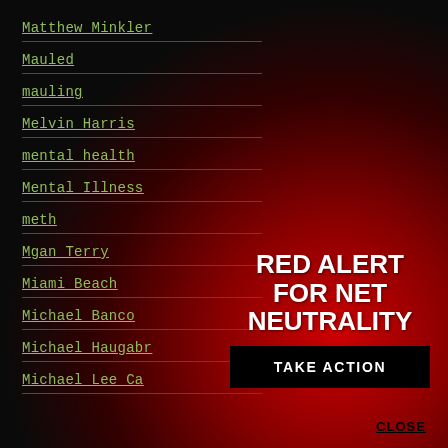Matthew Minkler
Mauled
mauling
Melvin Harris
mental health
Mental Illness
meth
Mgan Terry
Miami Beach
Michael Banco
Michael Haugabr
Michael Lee Ca
[Figure (infographic): Red Alert for Net Neutrality overlay with warning triangle icon, bold white text reading RED ALERT FOR NET NEUTRALITY, a black TAKE ACTION button, and a CLOSE link]
CLOSE